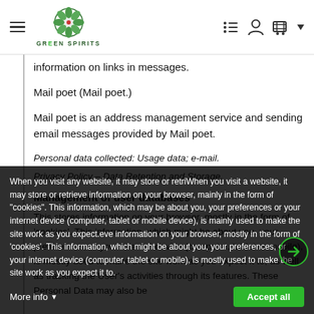GREEN SPIRITS [navigation header with hamburger menu, logo, list icon, user icon, cart icon]
information on links in messages.
Mail poet (Mail poet.)
Mail poet is an address management service and sending email messages provided by Mail poet.
Personal data collected: Usage data; e-mail.
Privacy Policy – Data Retention and Storage.
Management of user databases
This stores information on your browser, mostly in the form of 'cookies'. This information, which might be about you, your preferences, or your internet device (computer, tablet or mobile), is mostly used to make the site work as you expect it to, as well as tracking the User's activities through its features. These Personal Data may also be
When you visit any website, it may store or retriWhen you visit a website, it may store or retrieve information on your browser, mainly in the form of "cookies". This information, which may be about you, your preferences or your internet device (computer, tablet or mobile device), is mainly used to make the site work as you expect.eve information on your browser, mostly in the form of 'cookies'. This information, which might be about you, your preferences, or your internet device (computer, tablet or mobile), is mostly used to make the site work as you expect it to. More info | Accept all